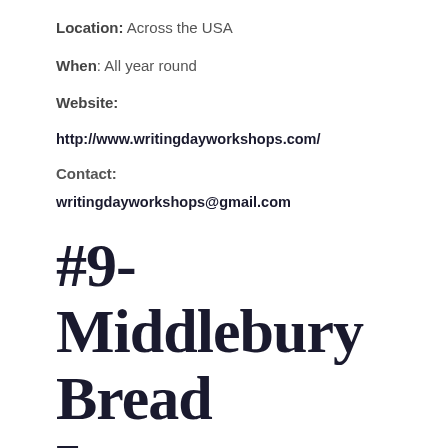Location: Across the USA
When: All year round
Website:
http://www.writingdayworkshops.com/
Contact:
writingdayworkshops@gmail.com
#9- Middlebury Bread Loa...